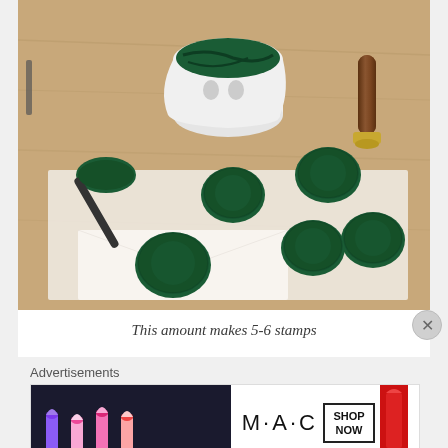[Figure (photo): Photo of green wax seals on parchment paper on a wooden surface, with a white ceramic wax melting pot containing green wax, a wooden-handled brass wax stamp, a spoon with green wax, and multiple dark green circular wax seals. A white envelope is visible in the lower portion.]
This amount makes 5-6 stamps
Advertisements
[Figure (photo): MAC cosmetics advertisement banner showing colorful lipsticks (purple, pink, coral) on the left, MAC brand logo in the center, a 'SHOP NOW' box, and red lipstick on the right.]